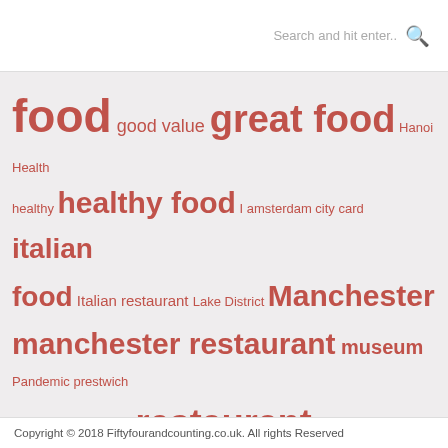Search and hit enter..
[Figure (infographic): Tag cloud with various food and travel related tags in different sizes, all in red/salmon color on light grey background. Tags include: food, good value, great food, Hanoi, Health, healthy, healthy food, I amsterdam city card, italian food, Italian restaurant, Lake District, Manchester, manchester restaurant, museum, Pandemic, prestwich, pub grub, quick lunch, restaurant, restaurants, Scandinavia, Sicily, siem reap, theatre, travel, Vienna, Vietnam, virus]
Copyright © 2018 Fiftyfourandcounting.co.uk. All rights Reserved